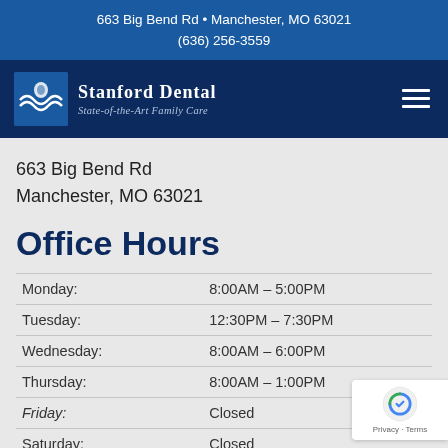663 Big Bend Rd • Manchester, MO 63021
(636) 256-3559
[Figure (logo): Stanford Dental logo with wave graphic and text 'Stanford Dental State-of-the-Art Family Care' on dark navy background]
663 Big Bend Rd
Manchester, MO 63021
Office Hours
| Day | Hours |
| --- | --- |
| Monday: | 8:00AM – 5:00PM |
| Tuesday: | 12:30PM – 7:30PM |
| Wednesday: | 8:00AM – 6:00PM |
| Thursday: | 8:00AM – 1:00PM |
| Friday: | Closed |
| Saturday: | Closed |